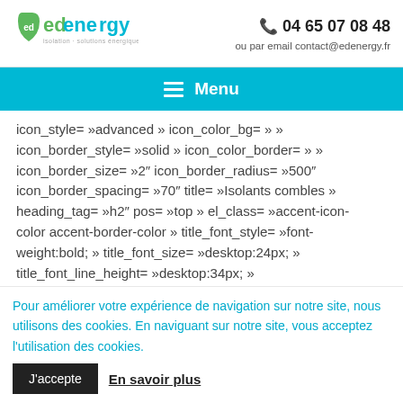edenergy logo | 04 65 07 08 48 ou par email contact@edenergy.fr
Menu
icon_style= »advanced » icon_color_bg= » » icon_border_style= »solid » icon_color_border= » » icon_border_size= »2" icon_border_radius= »500" icon_border_spacing= »70" title= »Isolants combles » heading_tag= »h2" pos= »top » el_class= »accent-icon-color accent-border-color » title_font_style= »font-weight:bold; » title_font_size= »desktop:24px; » title_font_line_height= »desktop:34px; »
Pour améliorer votre expérience de navigation sur notre site, nous utilisons des cookies. En naviguant sur notre site, vous acceptez l'utilisation des cookies.
J'accepte | En savoir plus